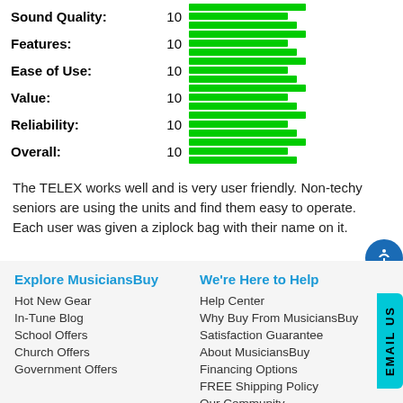[Figure (bar-chart): Ratings]
The TELEX works well and is very user friendly. Non-techy seniors are using the units and find them easy to operate. Each user was given a ziplock bag with their name on it.
Explore MusiciansBuy
Hot New Gear
In-Tune Blog
School Offers
Church Offers
Government Offers
We're Here to Help
Help Center
Why Buy From MusiciansBuy
Satisfaction Guarantee
About MusiciansBuy
Financing Options
FREE Shipping Policy
Our Community